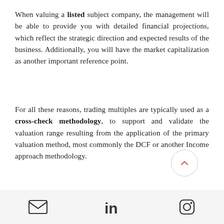When valuing a listed subject company, the management will be able to provide you with detailed financial projections, which reflect the strategic direction and expected results of the business. Additionally, you will have the market capitalization as another important reference point.
For all these reasons, trading multiples are typically used as a cross-check methodology, to support and validate the valuation range resulting from the application of the primary valuation method, most commonly the DCF or another Income approach methodology.
Alternatively, advisors may assign weights to the valuation ranges obtained by applying different valuation methodologies to arrive at a concluded range for the subject company, e.g. 50% weight to the DCF, 25% to the trading multiples and 25% to
social media icons: email, linkedin, instagram